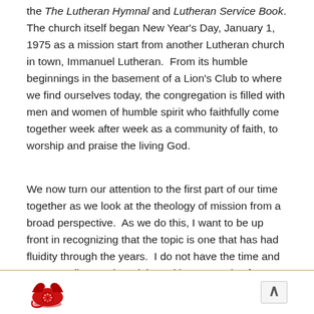the The Lutheran Hymnal and Lutheran Service Book. The church itself began New Year's Day, January 1, 1975 as a mission start from another Lutheran church in town, Immanuel Lutheran.  From its humble beginnings in the basement of a Lion's Club to where we find ourselves today, the congregation is filled with men and women of humble spirit who faithfully come together week after week as a community of faith, to worship and praise the living God.
We now turn our attention to the first part of our time together as we look at the theology of mission from a broad perspective.  As we do this, I want to be up front in recognizing that the topic is one that has had fluidity through the years.  I do not have the time and space to discuss the origin and hermeneutic of missions, but I do
[Figure (photo): Red rotary telephone icon in the page footer]
^ (up arrow navigation button)